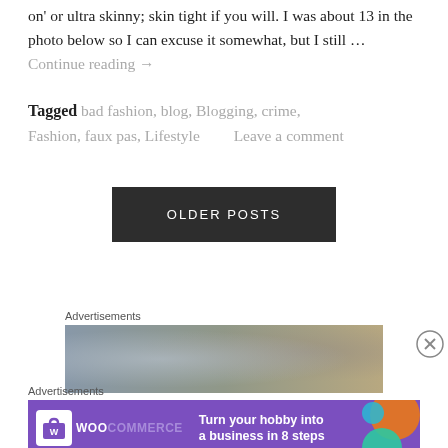on' or ultra skinny; skin tight if you will. I was about 13 in the photo below so I can excuse it somewhat, but I still … Continue reading →
Tagged bad fashion, blog, Blogging, crime, Fashion, faux pas, Lifestyle     Leave a comment
OLDER POSTS
Advertisements
[Figure (photo): Blurred advertisement image with grey/brown tones]
[Figure (other): Close button (X circle) on the right side]
Advertisements
[Figure (other): WooCommerce advertisement banner: Turn your hobby into a business in 8 steps]